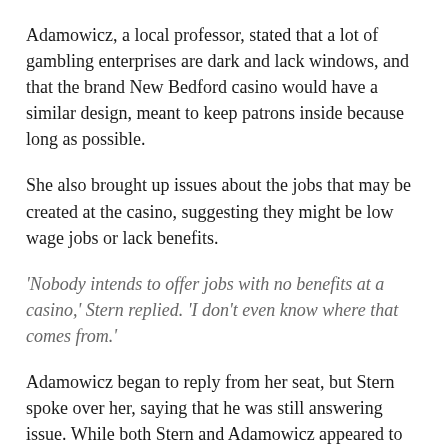Adamowicz, a local professor, stated that a lot of gambling enterprises are dark and lack windows, and that the brand New Bedford casino would have a similar design, meant to keep patrons inside because long as possible.
She also brought up issues about the jobs that may be created at the casino, suggesting they might be low wage jobs or lack benefits.
‘Nobody intends to offer jobs with no benefits at a casino,’ Stern replied. ‘I don’t even know where that comes from.’
Adamowicz began to reply from her seat, but Stern spoke over her, saying that he was still answering issue. While both Stern and Adamowicz appeared to have taken the incident in stride later, some at the forum took issue with Stern’s tone during the trade.